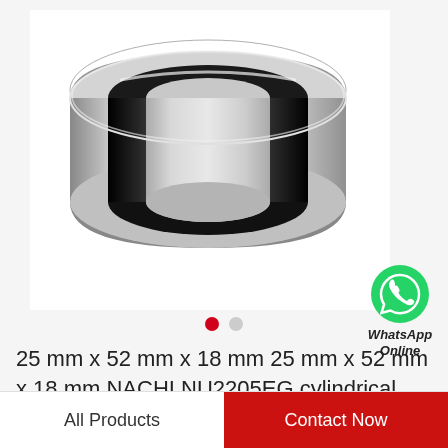[Figure (photo): A cylindrical roller bearing (NACHI NU2205EG) shown in perspective view. The bearing is metallic silver/gray with a black rubber seal visible on the inner race. The ring-shaped bearing is photographed against a white background.]
[Figure (logo): WhatsApp green speech bubble icon with phone handset symbol, accompanied by text 'WhatsApp Online' in italic bold.]
25 mm x 52 mm x 18 mm 25 mm x 52 mm x 18 mm NACHI NU2205EG cylindrical roller…
All Products
Contact Now